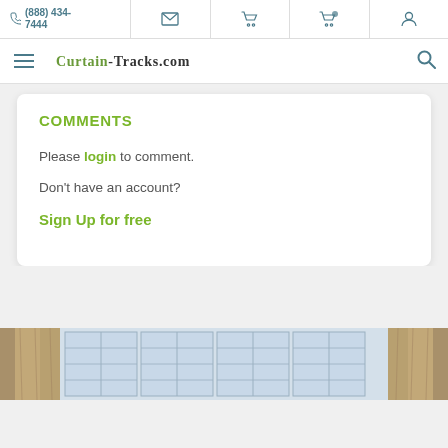(888) 434-7444
Curtain-Tracks.com
COMMENTS
Please login to comment.
Don't have an account?
Sign Up for free
[Figure (photo): Bay window with white framed multi-pane windows and beige/tan curtain panels on either side]